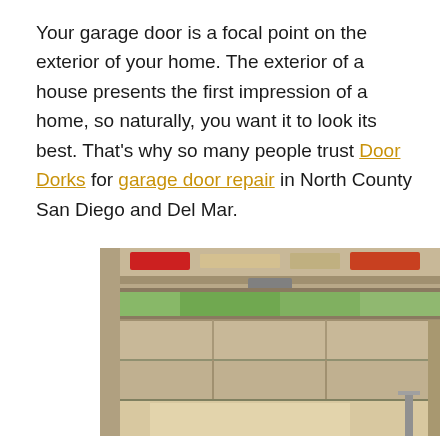Your garage door is a focal point on the exterior of your home. The exterior of a house presents the first impression of a home, so naturally, you want it to look its best. That's why so many people trust Door Dorks for garage door repair in North County San Diego and Del Mar.
[Figure (photo): Photo of a garage door partially open, showing the interior of a garage with natural light coming in from outside. The garage door panels are beige/tan colored with a window strip near the top.]